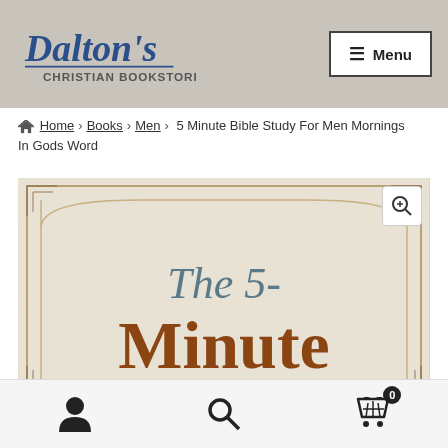Dalton's Christian Bookstore — Menu
Home > Books > Men > 5 Minute Bible Study For Men Mornings In Gods Word
[Figure (photo): Book cover showing 'The 5-Minute' text on a beige/cream background with decorative border elements, with a magnify icon overlay in the top right corner]
User icon, Search icon, Cart icon with badge 0